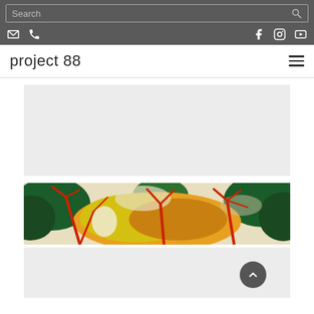Search bar and navigation header for project 88 website
project 88
[Figure (illustration): Light gray placeholder content area (first)]
[Figure (photo): Colorful expressionistic landscape painting showing red-branched trees with yellow, green, and orange foliage]
[Figure (illustration): Light gray placeholder content area (second) with a dark circular back-to-top chevron button at bottom right]